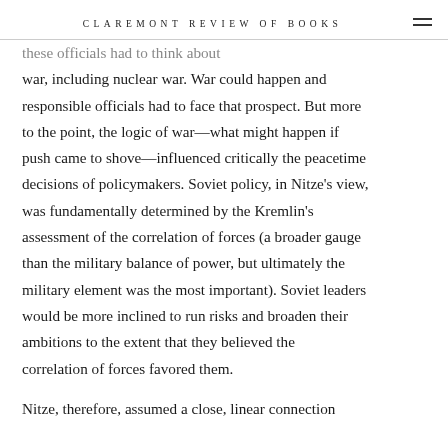CLAREMONT REVIEW OF BOOKS
…these officials had to think about war, including nuclear war. War could happen and responsible officials had to face that prospect. But more to the point, the logic of war—what might happen if push came to shove—influenced critically the peacetime decisions of policymakers. Soviet policy, in Nitze's view, was fundamentally determined by the Kremlin's assessment of the correlation of forces (a broader gauge than the military balance of power, but ultimately the military element was the most important). Soviet leaders would be more inclined to run risks and broaden their ambitions to the extent that they believed the correlation of forces favored them.
Nitze, therefore, assumed a close, linear connection